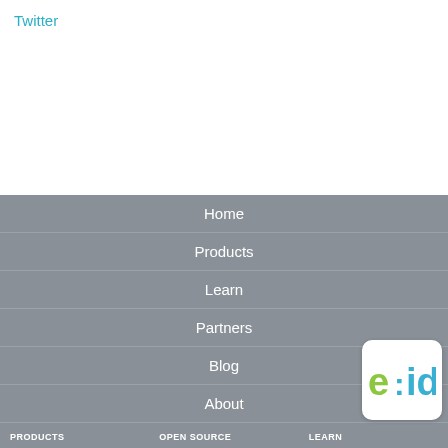Twitter
Home
Products
Learn
Partners
Blog
About
Contact
Search
Back to top
[Figure (logo): 2id logo in green and blue on white rounded square badge]
PRODUCTS   OPEN SOURCE   LEARN